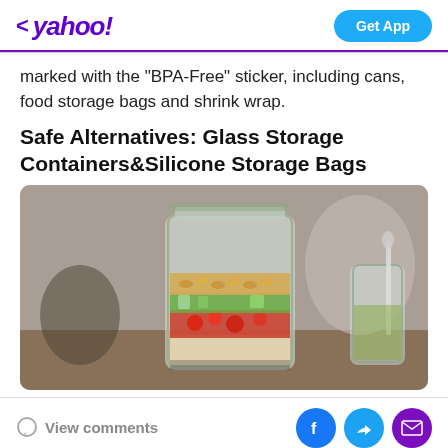< yahoo! | Get App
marked with the "BPA-Free" sticker, including cans, food storage bags and shrink wrap.
Safe Alternatives: Glass Storage Containers&Silicone Storage Bags
[Figure (photo): A glass mason jar filled with layered salad ingredients including vegetables, grapes, cherry tomatoes, and nuts. A second small glass jar with a spoon is visible in the background on a wooden surface.]
View comments | Facebook | Twitter | Email